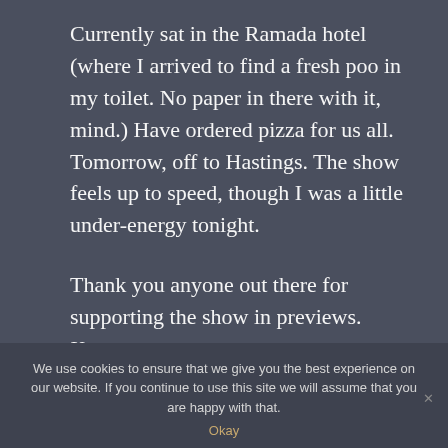Currently sat in the Ramada hotel (where I arrived to find a fresh poo in my toilet. No paper in there with it, mind.) Have ordered pizza for us all. Tomorrow, off to Hastings. The show feels up to speed, though I was a little under-energy tonight.
Thank you anyone out there for supporting the show in previews. X
We use cookies to ensure that we give you the best experience on our website. If you continue to use this site we will assume that you are happy with that.
Okay